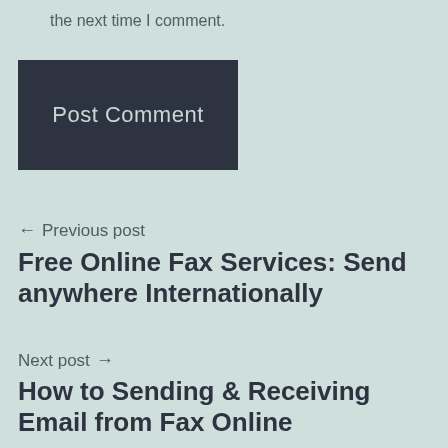the next time I comment.
Post Comment
← Previous post
Free Online Fax Services: Send anywhere Internationally
Next post →
How to Sending & Receiving Email from Fax Online